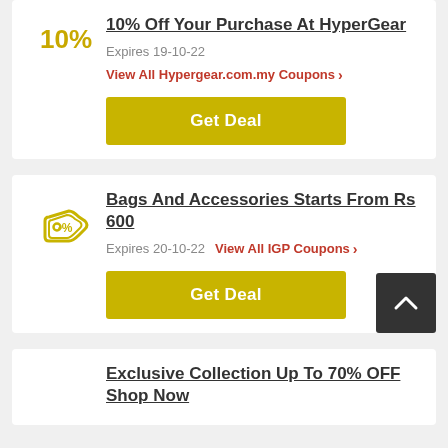10% Off Your Purchase At HyperGear
Expires 19-10-22
View All Hypergear.com.my Coupons >
Get Deal
Bags And Accessories Starts From Rs 600
Expires 20-10-22  View All IGP Coupons >
Get Deal
Exclusive Collection Up To 70% OFF Shop Now